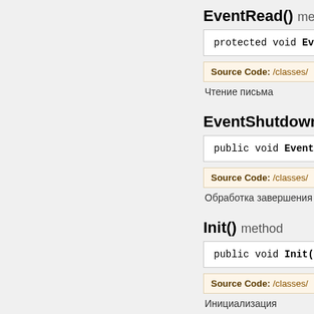EventRead() method
protected void Eve…
Source Code: /classes/
Чтение письма
EventShutdown() m…
public void EventS…
Source Code: /classes/
Обработка завершения
Init() method
public void Init()
Source Code: /classes/
Инициализация